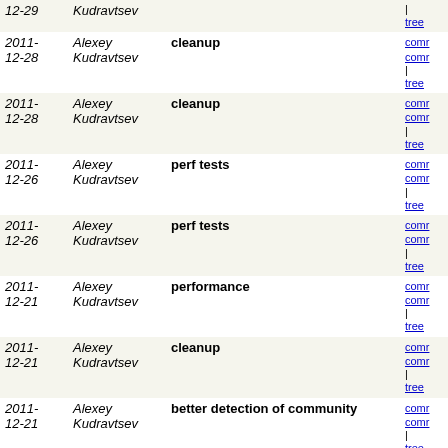| Date | Author | Message | Links |
| --- | --- | --- | --- |
| 2011-12-28 | Alexey Kudravtsev | cleanup | comr | comr | tree |
| 2011-12-28 | Alexey Kudravtsev | cleanup | comr | comr | tree |
| 2011-12-26 | Alexey Kudravtsev | perf tests | comr | comr | tree |
| 2011-12-26 | Alexey Kudravtsev | perf tests | comr | comr | tree |
| 2011-12-21 | Alexey Kudravtsev | performance | comr | comr | tree |
| 2011-12-21 | Alexey Kudravtsev | cleanup | comr | comr | tree |
| 2011-12-21 | Alexey Kudravtsev | better detection of community | comr | comr | tree |
| 2011-12-21 | Alexey Kudravtsev | performance: do not recalc/repaint on rangeHighlighter... | comr | comr | tree |
| 2011-12-21 | Alexey Kudravtsev | show external annotations in Ctrl-P | comr | comr | tree |
| 2011-12-21 | Alexey Kudravtsev | synchronization | comr | comr | tree |
| 2011-12-21 | Alexey Kudravtsev | notnull | comr | comr | tree |
| 2011-12-21 | Alexey Kudravtsev | exceptions in checkEditorLeaks | comr | comr | tree |
| 2011-12-21 | Alexey Kudravtsev | catch more exceptions during tearDown() | comr | comr | tree |